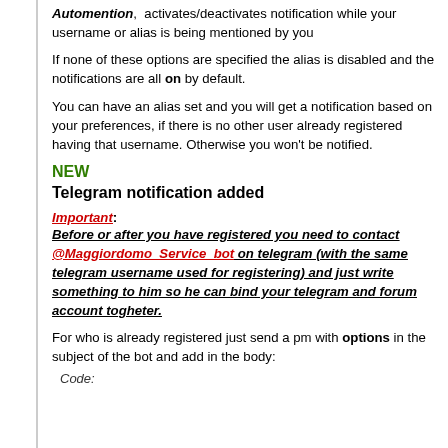Automention, activates/deactivates notification while your username or alias is being mentioned by you
If none of these options are specified the alias is disabled and the notifications are all on by default.
You can have an alias set and you will get a notification based on your preferences, if there is no other user already registered having that username. Otherwise you won't be notified.
NEW
Telegram notification added
Important: Before or after you have registered you need to contact @Maggiordomo_Service_bot on telegram (with the same telegram username used for registering) and just write something to him so he can bind your telegram and forum account togheter.
For who is already registered just send a pm with options in the subject of the bot and add in the body:
Code: